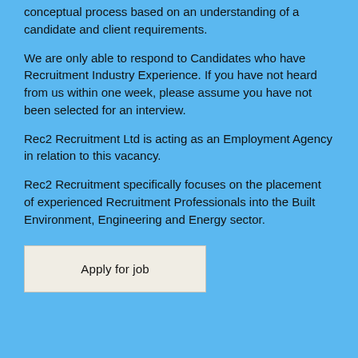conceptual process based on an understanding of a candidate and client requirements.
We are only able to respond to Candidates who have Recruitment Industry Experience. If you have not heard from us within one week, please assume you have not been selected for an interview.
Rec2 Recruitment Ltd is acting as an Employment Agency in relation to this vacancy.
Rec2 Recruitment specifically focuses on the placement of experienced Recruitment Professionals into the Built Environment, Engineering and Energy sector.
Apply for job